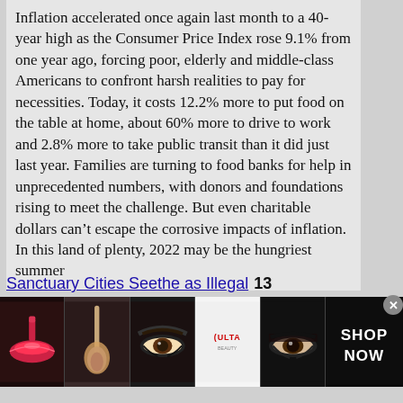Inflation accelerated once again last month to a 40-year high as the Consumer Price Index rose 9.1% from one year ago, forcing poor, elderly and middle-class Americans to confront harsh realities to pay for necessities. Today, it costs 12.2% more to put food on the table at home, about 60% more to drive to work and 2.8% more to take public transit than it did just last year. Families are turning to food banks for help in unprecedented numbers, with donors and foundations rising to meet the challenge. But even charitable dollars can't escape the corrosive impacts of inflation. In this land of plenty, 2022 may be the hungriest summer
Sanctuary Cities Seethe as Illegal 13
[Figure (photo): Ulta Beauty advertisement banner showing close-up photos of makeup, lips, brushes, eyes, and the Ulta logo with 'SHOP NOW' text on dark background]